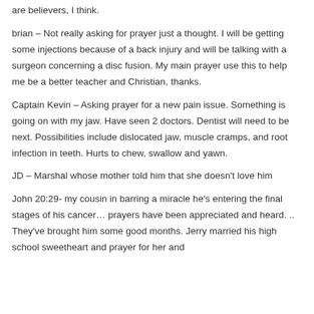are believers, I think.
brian – Not really asking for prayer just a thought. I will be getting some injections because of a back injury and will be talking with a surgeon concerning a disc fusion. My main prayer use this to help me be a better teacher and Christian, thanks.
Captain Kevin – Asking prayer for a new pain issue. Something is going on with my jaw. Have seen 2 doctors. Dentist will need to be next. Possibilities include dislocated jaw, muscle cramps, and root infection in teeth. Hurts to chew, swallow and yawn.
JD – Marshal whose mother told him that she doesn't love him
John 20:29- my cousin in barring a miracle he's entering the final stages of his cancer… prayers have been appreciated and heard. .. They've brought him some good months. Jerry married his high school sweetheart and prayer for her and